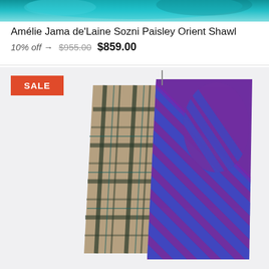[Figure (photo): Top banner with teal/turquoise decorative textile or background image]
Amélie Jama de'Laine Sozni Paisley Orient Shawl   10% off →  $955.00  $859.00
[Figure (photo): Product photo of a shawl draped on a hanger, showing two sides: a plaid/tartan pattern (dark tones) on one side and a purple and blue diagonal stripe pattern on the other side. White background. Red SALE badge in upper left corner.]